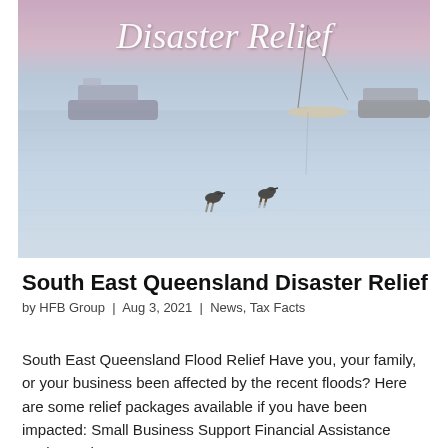[Figure (photo): Coastal scene with boats on calm water under a pink-purple sunset sky, two shorebirds wading in shallow water in the foreground. Script text 'Disaster Relief' overlaid at top.]
South East Queensland Disaster Relief
by HFB Group  |  Aug 3, 2021  |  News, Tax Facts
South East Queensland Flood Relief Have you, your family, or your business been affected by the recent floods? Here are some relief packages available if you have been impacted: Small Business Support Financial Assistance packages have